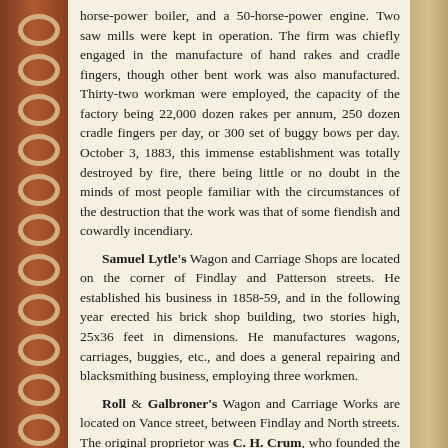horse-power boiler, and a 50-horse-power engine. Two saw mills were kept in operation. The firm was chiefly engaged in the manufacture of hand rakes and cradle fingers, though other bent work was also manufactured. Thirty-two workman were employed, the capacity of the factory being 22,000 dozen rakes per annum, 250 dozen cradle fingers per day, or 300 set of buggy bows per day. October 3, 1883, this immense establishment was totally destroyed by fire, there being little or no doubt in the minds of most people familiar with the circumstances of the destruction that the work was that of some fiendish and cowardly incendiary.
Samuel Lytle's Wagon and Carriage Shops are located on the corner of Findlay and Patterson streets. He established his business in 1858-59, and in the following year erected his brick shop building, two stories high, 25x36 feet in dimensions. He manufactures wagons, carriages, buggies, etc., and does a general repairing and blacksmithing business, employing three workmen.
Roll & Galbroner's Wagon and Carriage Works are located on Vance street, between Findlay and North streets. The original proprietor was C. H. Crum, who founded the business in 1850. The firm